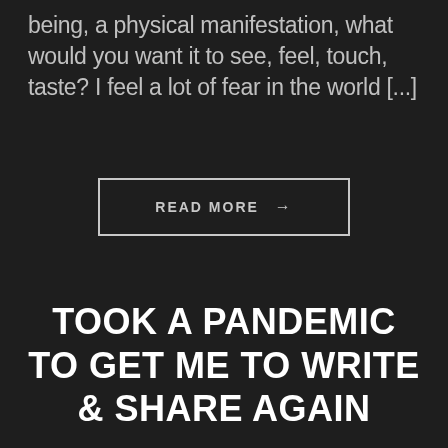being, a physical manifestation, what would you want it to see, feel, touch, taste? I feel a lot of fear in the world [...]
READ MORE →
TOOK A PANDEMIC TO GET ME TO WRITE & SHARE AGAIN